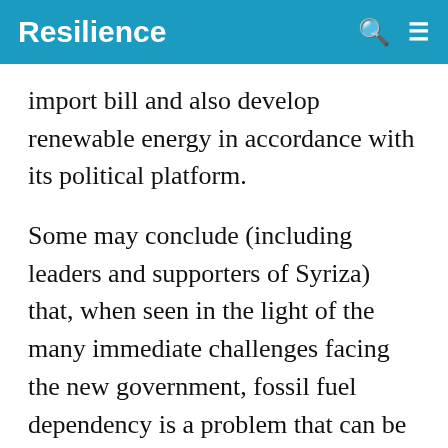Resilience
import bill and also develop renewable energy in accordance with its political platform.
Some may conclude (including leaders and supporters of Syriza) that, when seen in the light of the many immediate challenges facing the new government, fossil fuel dependency is a problem that can be addressed over the longer term. Greece has cheap and abundant supplies of lignite coal